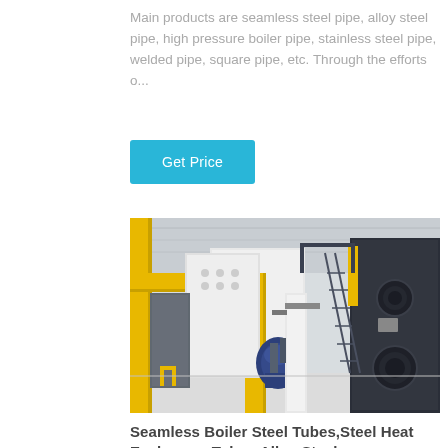Main products are seamless steel pipe, alloy steel pipe, high pressure boiler pipe, stainless steel pipe, welded pipe, square pipe, etc. Through the efforts o...
Get Price
[Figure (photo): Industrial factory interior showing large boiler/pressure vessel equipment with yellow structural frames, metal staircases, pipes, and heavy industrial machinery in a white-walled facility.]
Seamless Boiler Steel Tubes,Steel Heat Exchanger Tubes,Alloy Steel...